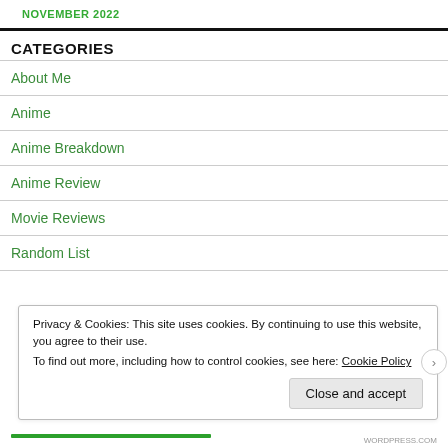NOVEMBER 2022
CATEGORIES
About Me
Anime
Anime Breakdown
Anime Review
Movie Reviews
Random List
Privacy & Cookies: This site uses cookies. By continuing to use this website, you agree to their use. To find out more, including how to control cookies, see here: Cookie Policy
Close and accept